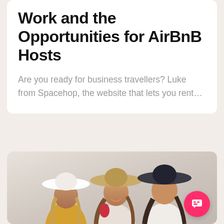Work and the Opportunities for AirBnB Hosts
Are you ready for business travellers? Luke from Spacehop, the website that lets you rent...
[Figure (photo): Three young women wearing sun hats, laughing and talking together. One wears a white hat, another a tan/beige hat, and one a dark navy hat. Pastel/grey background.]